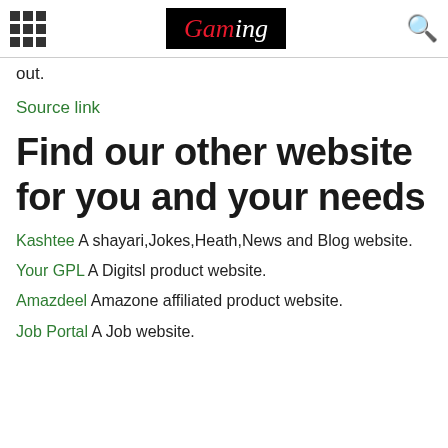Gaming logo header with grid menu icon and search icon
out.
Source link
Find our other website for you and your needs
Kashtee A shayari,Jokes,Heath,News and Blog website.
Your GPL A Digitsl product website.
Amazdeel Amazone affiliated product website.
Job Portal A Job website.